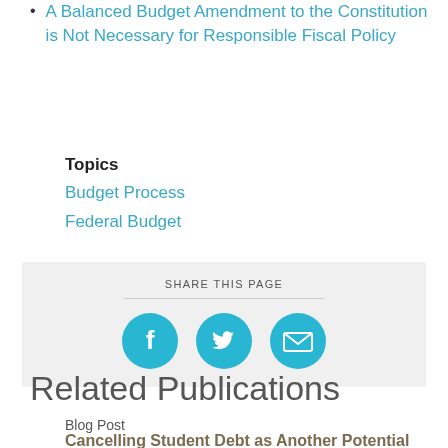A Balanced Budget Amendment to the Constitution is Not Necessary for Responsible Fiscal Policy
Topics
Budget Process
Federal Budget
[Figure (infographic): Share This Page section with Facebook, Twitter, and email icon buttons on a light gray background]
Related Publications
Blog Post
Cancelling Student Debt as Another Potential Government Shutdown Looms